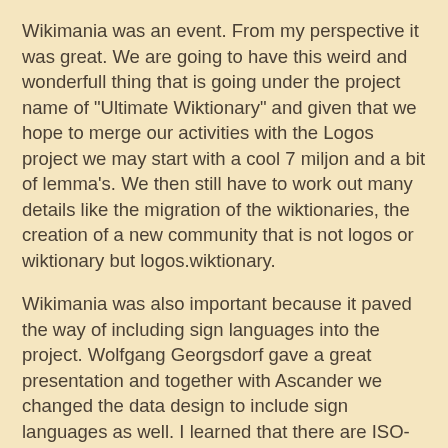Wikimania was an event. From my perspective it was great. We are going to have this weird and wonderfull thing that is going under the project name of "Ultimate Wiktionary" and given that we hope to merge our activities with the Logos project we may start with a cool 7 miljon and a bit of lemma's. We then still have to work out many details like the migration of the wiktionaries, the creation of a new community that is not logos or wiktionary but logos.wiktionary.
Wikimania was also important because it paved the way of including sign languages into the project. Wolfgang Georgsdorf gave a great presentation and together with Ascander we changed the data design to include sign languages as well. I learned that there are ISO-639 codes for sign languages as well :) .
When I came back I have worked hard to do many things that can be considered the fallout of the conference, I still have not finished to do all the things that I want to do. The nds thing did not go away and it does cost me my time.